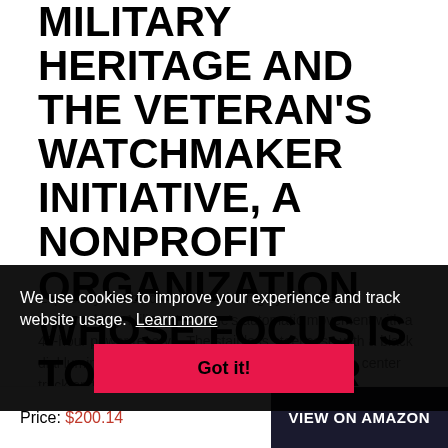MILITARY HERITAGE AND THE VETERAN'S WATCHMAKER INITIATIVE, A NONPROFIT ORGANIZATION WHOSE FOCUS IS TO TEACH WAR VETERANS.
Especially disabled veterans, the highly skilled art of watchmaking. Military Heritage's automatic movement with a 42-hour power reserve. The stainless steel case with a black dial luminescent hands and markers also features a center track on the dial...
We use cookies to improve your experience and track website usage. Learn more
Got it!
Price: $200.14
VIEW ON AMAZON